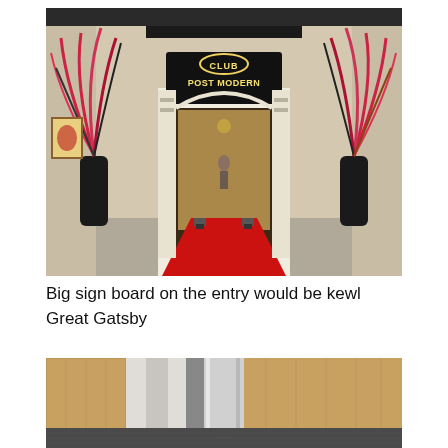[Figure (photo): Art Deco style club entrance with sign reading 'CLUB POST MODERN', flanked by two tall black vases with large feathered arrangements in red and black. A red carpet leads through the entrance doorway.]
Big sign board on the entry would be kewl Great Gatsby
[Figure (photo): Partial view of an interior space with wooden furniture and a dark tile floor, possibly a hallway or entry area.]